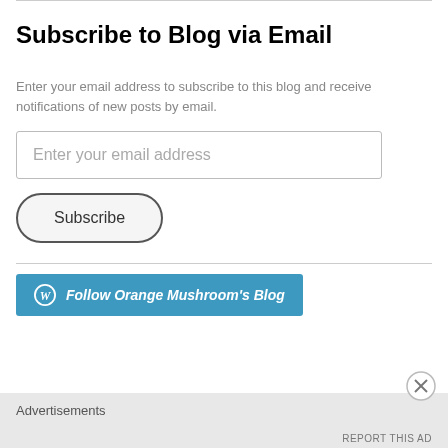Subscribe to Blog via Email
Enter your email address to subscribe to this blog and receive notifications of new posts by email.
[Figure (screenshot): Email input field with placeholder text 'Enter your email address']
[Figure (screenshot): Subscribe button with rounded pill shape]
[Figure (screenshot): Follow Orange Mushroom's Blog button with WordPress icon]
Advertisements
REPORT THIS AD